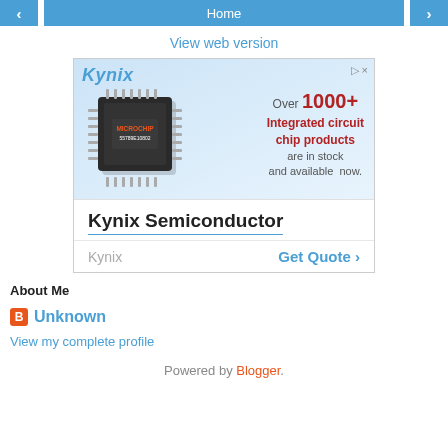< Home >
View web version
[Figure (advertisement): Kynix Semiconductor advertisement showing a microchip IC package with text 'Over 1000+ Integrated circuit chip products are in stock and available now.' Below is bold text 'Kynix Semiconductor' with a Get Quote button.]
About Me
Unknown
View my complete profile
Powered by Blogger.